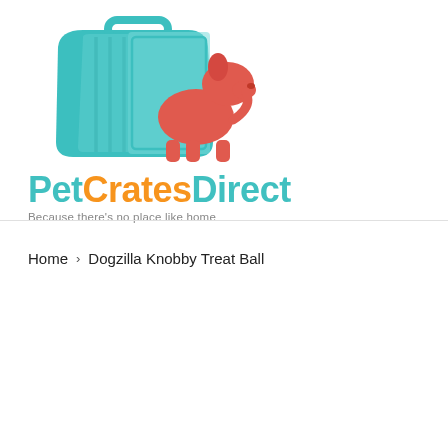[Figure (logo): PetCratesDirect logo: teal pet carrier/crate with red dog silhouette, brand name in teal and orange, tagline below]
Home › Dogzilla Knobby Treat Ball